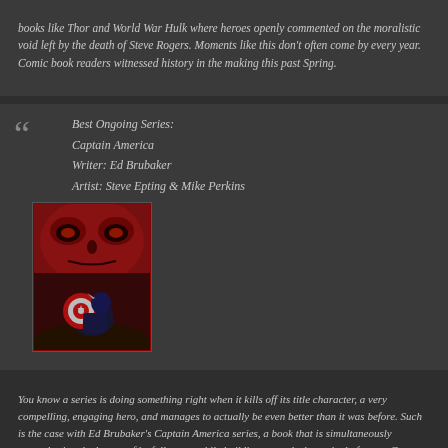books like Thor and World War Hulk where heroes openly commented on the moralistic void left by the death of Steve Rogers. Moments like this don't often come by every year. Comic book readers witnessed history in the making this past Spring.
Best Ongoing Series:
Captain America
Writer: Ed Brubaker
Artist: Steve Epting & Mike Perkins
[Figure (illustration): Captain America comic book cover art showing a figure with Cap's shield beneath a large red menacing face (Red Skull) in dark red tones]
You know a series is doing something right when it kills off its title character, a very compelling, engaging hero, and manages to actually be even better than it was before. Such is the case with Ed Brubaker's Captain America series, a book that is simultaneously remembering the legacy of its fallen son while building towards the arrival of a new Cap.